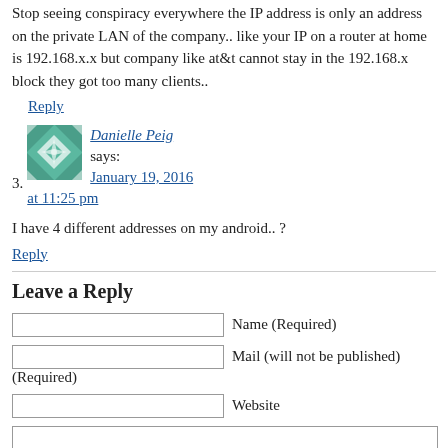Stop seeing conspiracy everywhere the IP address is only an address on the private LAN of the company.. like your IP on a router at home is 192.168.x.x but company like at&t cannot stay in the 192.168.x block they got too many clients..
Reply
3. Danielle Peig says: January 19, 2016 at 11:25 pm
I have 4 different addresses on my android.. ?
Reply
Leave a Reply
Name (Required)
Mail (will not be published) (Required)
Website